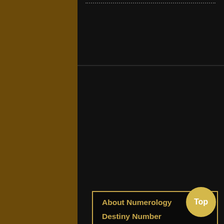[Figure (screenshot): Dark mobile app interface with brown border sidebars and a navigation menu panel on black background with gold border]
About Numerology
Destiny Number
Expression Number
Auspicious Day
Name Change Report
Baby Names